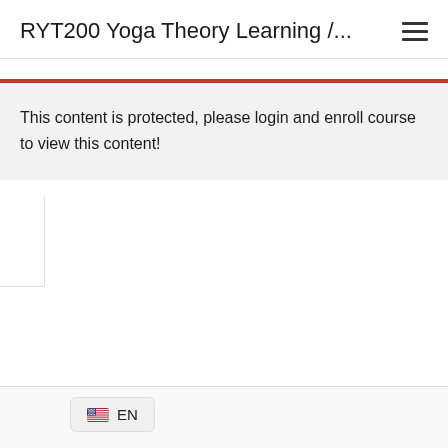RYT200 Yoga Theory Learning /...
This content is protected, please login and enroll course to view this content!
EN